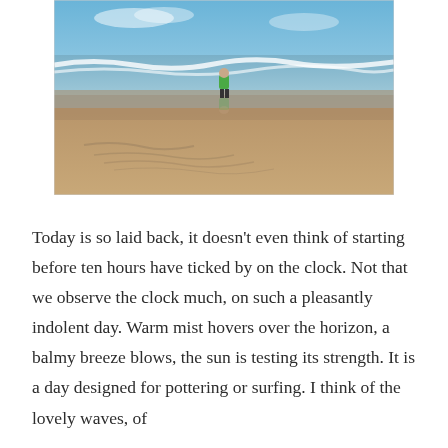[Figure (photo): A person in a green top standing on a wide sandy beach near the shoreline, with waves breaking in the background and footprints or writing visible in the wet sand in the foreground. Clear blue sky above.]
Today is so laid back, it doesn’t even think of starting before ten hours have ticked by on the clock. Not that we observe the clock much, on such a pleasantly indolent day. Warm mist hovers over the horizon, a balmy breeze blows, the sun is testing its strength. It is a day designed for pottering or surfing. I think of the lovely waves, of